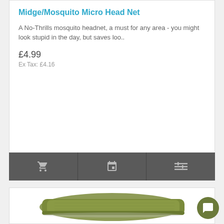Midge/Mosquito Micro Head Net
A No-Thrills mosquito headnet, a must for any area - you might look stupid in the day, but saves loo..
£4.99
Ex Tax: £4.16
[Figure (photo): Folded olive green fabric/cloth item (likely a sleeping bag liner or similar product) photographed on white background]
[Figure (other): Chat bubble icon button (olive/green circle with speech bubble icon)]